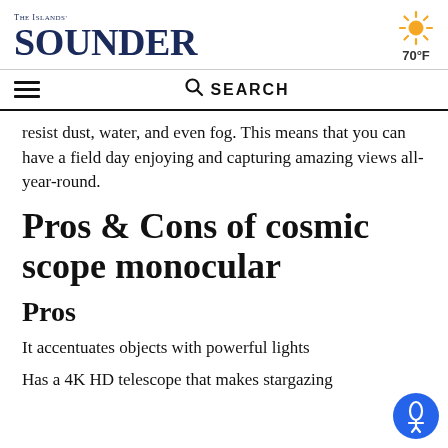The Islands' Sounder — 70°F
resist dust, water, and even fog. This means that you can have a field day enjoying and capturing amazing views all-year-round.
Pros & Cons of cosmic scope monocular
Pros
It accentuates objects with powerful lights
Has a 4K HD telescope that makes stargazing